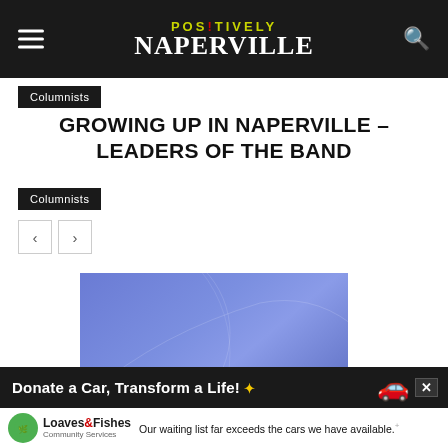POSITIVELY NAPERVILLE
Columnists
GROWING UP IN NAPERVILLE – LEADERS OF THE BAND
Columnists
[Figure (photo): Blue/purple gradient image, likely article header image for Growing Up in Naperville column]
Donate a Car, Transform a Life! Loaves & Fishes Community Services — Our waiting list far exceeds the cars we have available.